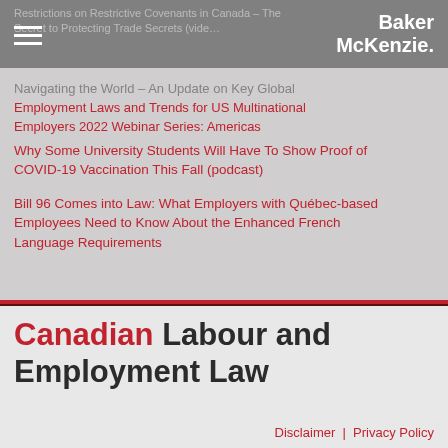Baker McKenzie.
Restrictions on Restrictive Covenants in Canada – The Secret to Protecting Trade Secrets (video)
Navigating the World – An Update on Key Global Employment Laws and Trends for US Multinational Employers 2022 Webinar Series: Americas
Employment Laws and Trends for US Multinational Employers 2022 Webinar Series: Americas
Why Some University Students Will Have To Show Proof of COVID-19 Vaccination This Fall (podcast)
Bill 96 Comes into Law: What Employers with Québec-based Employees Need to Know About the Enhanced French Language Requirements
Canadian Labour and Employment Law
Disclaimer | Privacy Policy